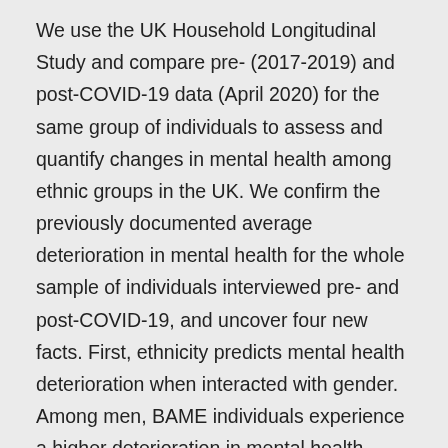We use the UK Household Longitudinal Study and compare pre- (2017-2019) and post-COVID-19 data (April 2020) for the same group of individuals to assess and quantify changes in mental health among ethnic groups in the UK. We confirm the previously documented average deterioration in mental health for the whole sample of individuals interviewed pre- and post-COVID-19, and uncover four new facts. First, ethnicity predicts mental health deterioration when interacted with gender. Among men, BAME individuals experience a higher deterioration in mental health compared to British White individuals. However, among women, the deterioration in mental health is similar for both BAME and British White individuals. Second,